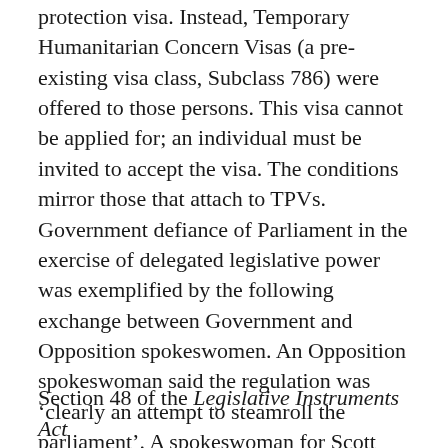protection visa. Instead, Temporary Humanitarian Concern Visas (a pre-existing visa class, Subclass 786) were offered to those persons. This visa cannot be applied for; an individual must be invited to accept the visa. The conditions mirror those that attach to TPVs. Government defiance of Parliament in the exercise of delegated legislative power was exemplified by the following exchange between Government and Opposition spokeswomen. An Opposition spokeswoman said the regulation was 'clearly an attempt to steamroll the parliament'. A spokeswoman for Scott Morrison, the Immigration Minister, said 'The Senate's actions in disallowing TPV regulations has meant that the government has had to look at existing temporary visa options to achieve the same outcome.'
Section 48 of the Legislative Instruments Act